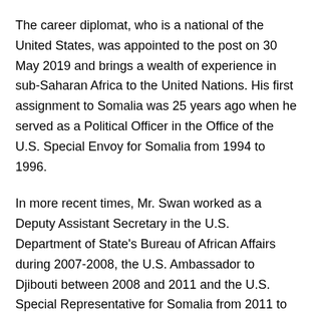The career diplomat, who is a national of the United States, was appointed to the post on 30 May 2019 and brings a wealth of experience in sub-Saharan Africa to the United Nations. His first assignment to Somalia was 25 years ago when he served as a Political Officer in the Office of the U.S. Special Envoy for Somalia from 1994 to 1996.
In more recent times, Mr. Swan worked as a Deputy Assistant Secretary in the U.S. Department of State's Bureau of African Affairs during 2007-2008, the U.S. Ambassador to Djibouti between 2008 and 2011 and the U.S. Special Representative for Somalia from 2011 to 2013. He ended his State Department career as U.S. Ambassador to the Democratic Republic of the Congo, where he served from 2013 to 2016.
“I’m looking forward to engaging again with the resilient